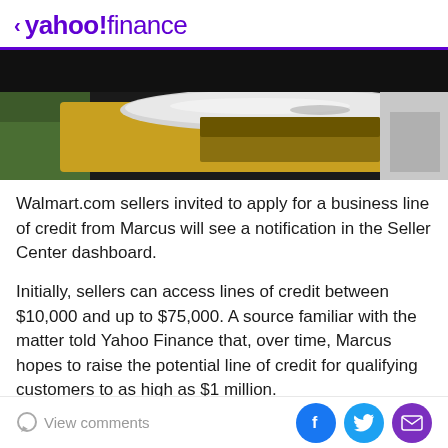< yahoo!finance
[Figure (photo): Car roof close-up photo with dark background above it]
Walmart.com sellers invited to apply for a business line of credit from Marcus will see a notification in the Seller Center dashboard.
Initially, sellers can access lines of credit between $10,000 and up to $75,000. A source familiar with the matter told Yahoo Finance that, over time, Marcus hopes to raise the potential line of credit for qualifying customers to as high as $1 million.
View comments